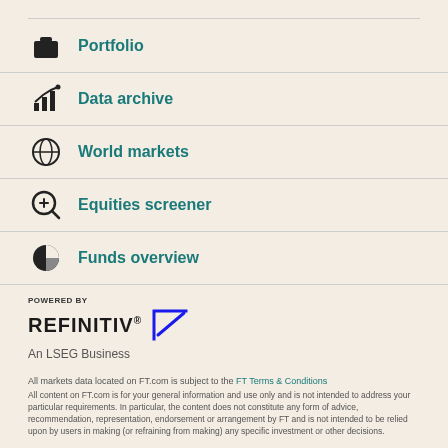Portfolio
Data archive
World markets
Equities screener
Funds overview
[Figure (logo): Refinitiv logo — POWERED BY REFINITIV with arrow icon, An LSEG Business]
An LSEG Business
All markets data located on FT.com is subject to the FT Terms & Conditions
All content on FT.com is for your general information and use only and is not intended to address your particular requirements. In particular, the content does not constitute any form of advice, recommendation, representation, endorsement or arrangement by FT and is not intended to be relied upon by users in making (or refraining from making) any specific investment or other decisions.